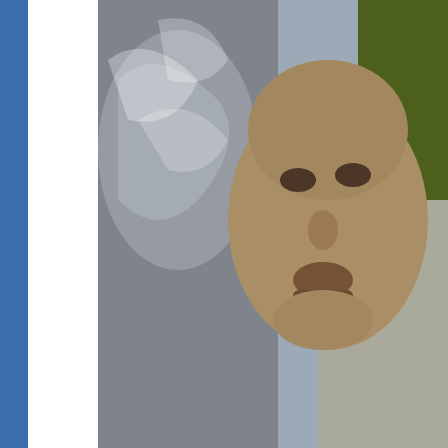[Figure (screenshot): Screenshot of a Twitter/X post showing a close-up photo of a man's face with a plastic bag near his face, with action bar showing 2.4K likes, Reply, Copy link options, and a 'Read 665 replies' button. Below is text 'Going back for more.....' and the beginning of another tweet card showing a user profile with Japanese text.]
4:57 AM · Jun 22, 2020
♡ 2.4K   Reply   Copy link
Read 665 replies
Going back for more.....
大袈裟太郎 ＝ 猪股東吾